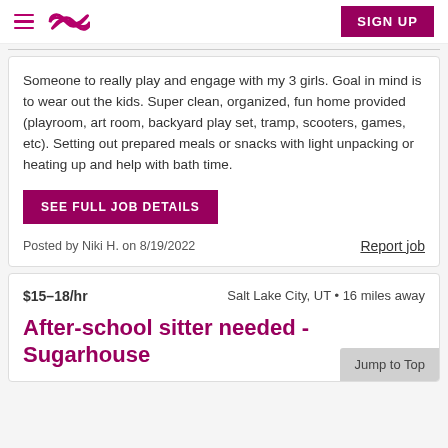Sittercity navigation header with SIGN UP button
Someone to really play and engage with my 3 girls. Goal in mind is to wear out the kids. Super clean, organized, fun home provided (playroom, art room, backyard play set, tramp, scooters, games, etc). Setting out prepared meals or snacks with light unpacking or heating up and help with bath time.
SEE FULL JOB DETAILS
Posted by Niki H. on 8/19/2022
Report job
$15–18/hr   Salt Lake City, UT • 16 miles away
After-school sitter needed - Sugarhouse
Jump to Top